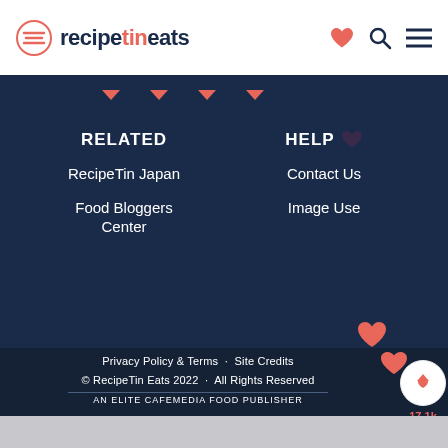recipetineats
RELATED
RecipeTin Japan
Food Bloggers Center
HELP
Contact Us
Image Use
Privacy Policy & Terms · Site Credits
© RecipeTin Eats 2022 · All Rights Reserved
AN ELITE CAFEMEDIA FOOD PUBLISHER